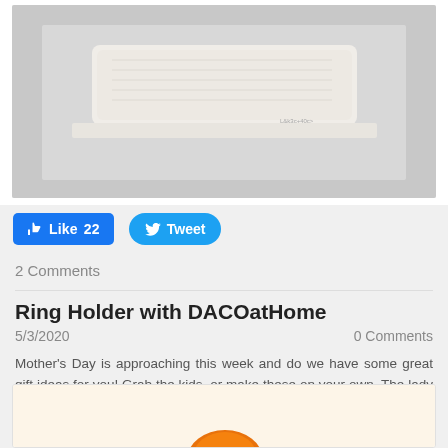[Figure (photo): Cropped top of an image showing a white/cream textured object on a light gray background, displayed inside a white card frame.]
Like 22   Tweet
2 Comments
Ring Holder with DACOatHome
5/3/2020   0 Comments
Mother's Day is approaching this week and do we have some great gift ideas for you! Grab the kids, or make these on your own. The lady in your life is sure to love a handmade gift. Check out the instructions and make your own here.
[Figure (photo): Bottom of page shows the top portion of another blog post image — a warm yellowish background with an orange shape partially visible at the bottom.]